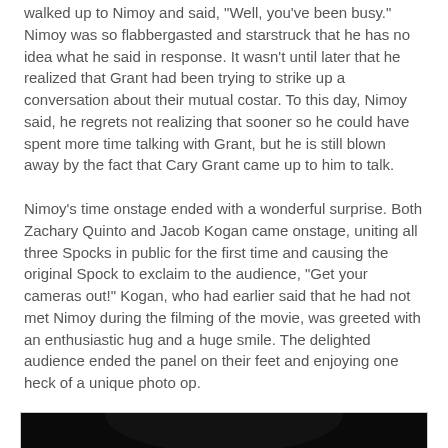walked up to Nimoy and said, "Well, you've been busy." Nimoy was so flabbergasted and starstruck that he has no idea what he said in response.  It wasn't until later that he realized that Grant had been trying to strike up a conversation about their mutual costar.  To this day, Nimoy said, he regrets not realizing that sooner so he could have spent more time talking with Grant, but he is still blown away by the fact that Cary Grant came up to him to talk.
Nimoy's time onstage ended with a wonderful surprise.  Both Zachary Quinto and Jacob Kogan came onstage, uniting all three Spocks in public for the first time and causing the original Spock to exclaim to the audience, "Get your cameras out!"  Kogan, who had earlier said that he had not met Nimoy during the filming of the movie, was greeted with an enthusiastic hug and a huge smile.  The delighted audience ended the panel on their feet and enjoying one heck of a unique photo op.
[Figure (photo): A dark photograph showing figures on what appears to be a stage, with someone making a hand gesture (possibly a Vulcan salute) visible against the dark background.]